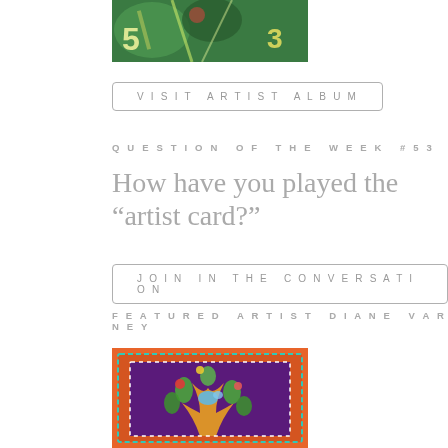[Figure (photo): Partial top crop of a colorful artwork painting showing numbers 5, 3 on a green background with abstract elements]
VISIT ARTIST ALBUM
QUESTION OF THE WEEK #53
How have you played the “artist card?”
JOIN IN THE CONVERSATION
FEATURED ARTIST DIANE VARNEY
[Figure (photo): Colorful folk art painting featuring a stylized tree with birds, leaves, and decorative border on an orange and purple background by Diane Varney]